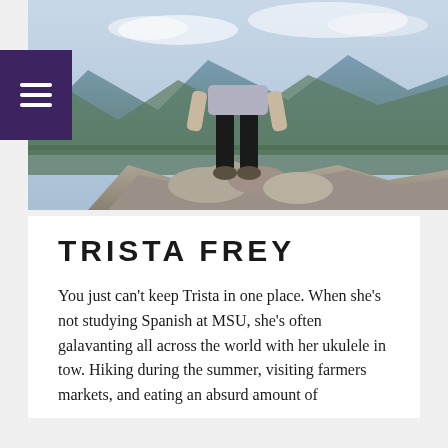[Figure (photo): A person standing on a rocky mountain summit wearing black leggings and a gray top, with a panoramic mountain landscape in the background.]
TRISTA FREY
You just can't keep Trista in one place. When she's not studying Spanish at MSU, she's often galavanting all across the world with her ukulele in tow. Hiking during the summer, visiting farmers markets, and eating an absurd amount of